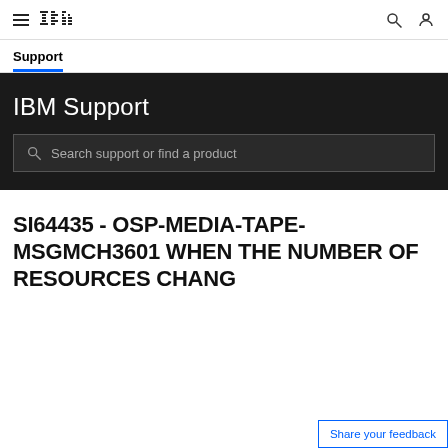IBM Support — Navigation bar with IBM logo, hamburger menu, search and user icons
Support
[Figure (screenshot): IBM Support dark hero banner with 'IBM Support' heading and a search box labeled 'Search support or find a product']
SI64435 - OSP-MEDIA-TAPE-MSGMCH3601 WHEN THE NUMBER OF RESOURCES CHANG
Share your feedback